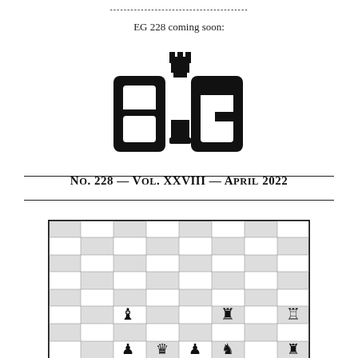--------------------------------------------
EG 228 coming soon:
[Figure (logo): EG chess magazine logo: stylized letters 'e' and 'G' with a rook chess piece on top of the 'G', in black]
No. 228 — Vol. XXVIII — April 2022
[Figure (other): Chess board diagram showing an endgame position with pieces: black bishop on c3, black rook on f3, white rook on h3, black pawn on c1, white queen on d1, black pawn on e1, black knight on f1, white rook on h1]